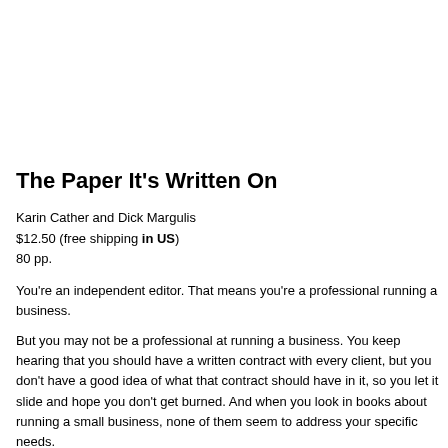The Paper It's Written On
Karin Cather and Dick Margulis
$12.50 (free shipping in US)
80 pp.
You're an independent editor. That means you're a professional running a business.
But you may not be a professional at running a business. You keep hearing that you should have a written contract with every client, but you don't have a good idea of what that contract should have in it, so you let it slide and hope you don't get burned. And when you look in books about running a small business, none of them seem to address your specific needs.